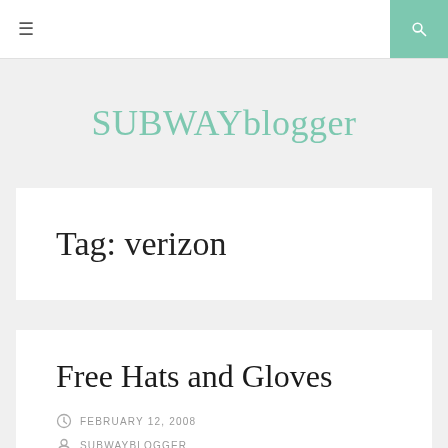≡  [search icon]
SUBWAYblogger
Tag: verizon
Free Hats and Gloves
FEBRUARY 12, 2008
SUBWAYBLOGGER
1 COMMENT